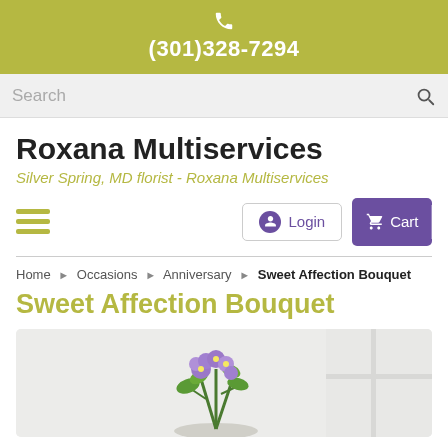(301)328-7294
Search
Roxana Multiservices
Silver Spring, MD florist - Roxana Multiservices
Login   Cart
Home › Occasions › Anniversary › Sweet Affection Bouquet
Sweet Affection Bouquet
[Figure (photo): Floral bouquet product photo showing purple and green flowers in a white vase against a light background]